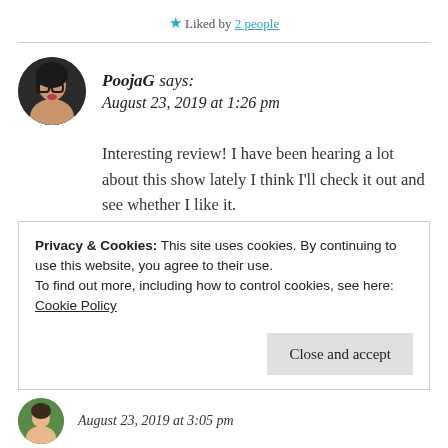★ Liked by 2 people
PoojaG says:
August 23, 2019 at 1:26 pm
Interesting review! I have been hearing a lot about this show lately I think I'll check it out and see whether I like it.
★ Liked by 2 people
Privacy & Cookies: This site uses cookies. By continuing to use this website, you agree to their use.
To find out more, including how to control cookies, see here: Cookie Policy
Close and accept
August 23, 2019 at 3:05 pm